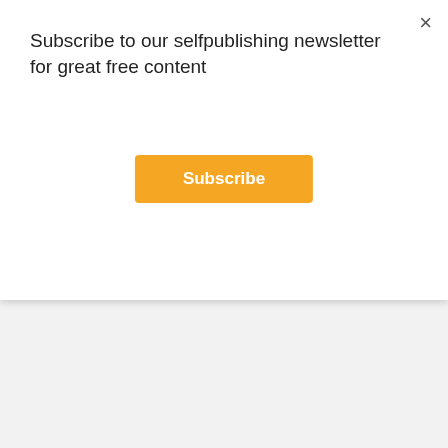Subscribe to our selfpublishing newsletter for great free content
Subscribe
×
[Figure (photo): Book cover showing 'FOREST' title in large green letters on a dark background with trees, by Jeremy Bat. Text reads: AWARD-WINNING AUTHOR OF THE TASTE, JEREMY BAT, A WORLD'S SCARIEST PLACES NOVEL: BOOK]
[Figure (photo): Partial book cover image, dark tones, bottom portion visible]